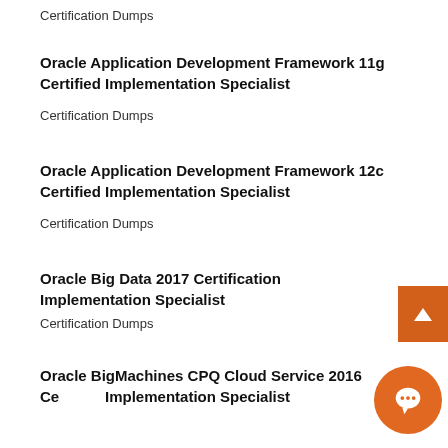Certification Dumps
Oracle Application Development Framework 11g Certified Implementation Specialist
Certification Dumps
Oracle Application Development Framework 12c Certified Implementation Specialist
Certification Dumps
Oracle Big Data 2017 Certification Implementation Specialist
Certification Dumps
Oracle BigMachines CPQ Cloud Service 2016 Certified Implementation Specialist